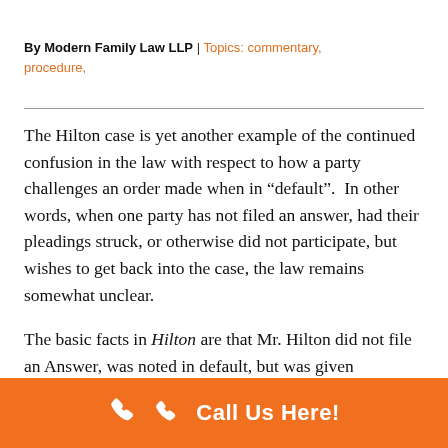By Modern Family Law LLP | Topics: commentary, procedure,
The Hilton case is yet another example of the continued confusion in the law with respect to how a party challenges an order made when in “default”.  In other words, when one party has not filed an answer, had their pleadings struck, or otherwise did not participate, but wishes to get back into the case, the law remains somewhat unclear.

The basic facts in Hilton are that Mr. Hilton did not file an Answer, was noted in default, but was given
Call Us Here!